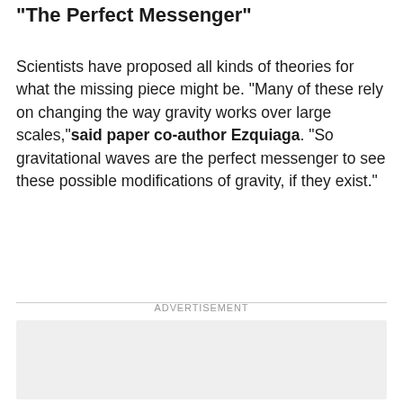“The Perfect Messenger”
Scientists have proposed all kinds of theories for what the missing piece might be. “Many of these rely on changing the way gravity works over large scales,” said paper co-author Ezquiaga. “So gravitational waves are the perfect messenger to see these possible modifications of gravity, if they exist.”
ADVERTISEMENT
[Figure (other): Advertisement placeholder box (gray rectangle)]